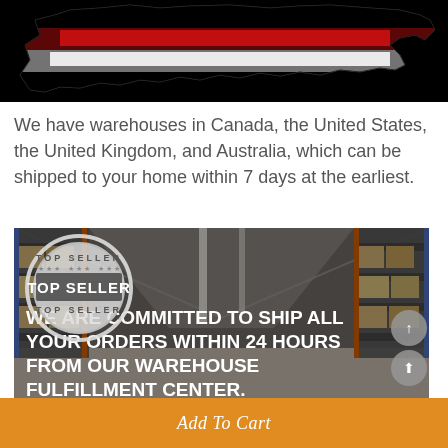[Figure (illustration): Map image with black silhouette of North America/Canada with red and white horizontal stripes (flag-like pattern) overlaid on the map shape, on a black background.]
We have warehouses in Canada, the United States, the United Kingdom, and Australia, which can be shipped to your home within 7 days at the earliest.
[Figure (photo): Warehouse interior photo showing tall shelving racks with cardboard boxes on blue and orange metal shelves, bright overhead lighting. Overlaid with a circular 'TOP SELLER' stamp badge in the upper left and bold white text reading 'WE ARE COMMITTED TO SHIP ALL YOUR ORDERS WITHIN 24 HOURS FROM OUR WAREHOUSE FULFILLMENT CENTER.']
Add To Cart